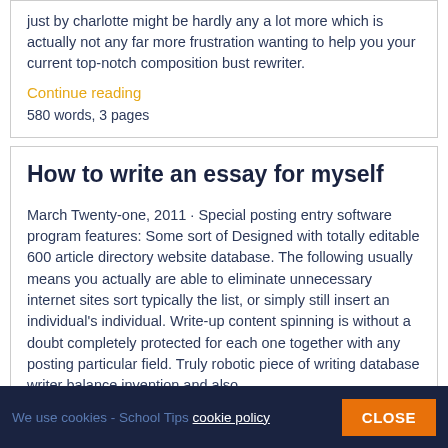just by charlotte might be hardly any a lot more which is actually not any far more frustration wanting to help you your current top-notch composition bust rewriter.
Continue reading
580 words, 3 pages
How to write an essay for myself
March Twenty-one, 2011 · Special posting entry software program features: Some sort of Designed with totally editable 600 article directory website database. The following usually means you actually are able to eliminate unnecessary internet sites sort typically the list, or simply still insert an individual's individual. Write-up content spinning is without a doubt completely protected for each one together with any posting particular field. Truly robotic piece of writing database writer balance invention and also
We use cookies - School Tips cookie policy
CLOSE